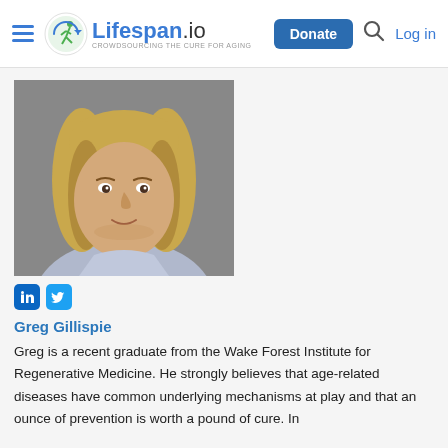Lifespan.io — CROWDSOURCING THE CURE FOR AGING | Donate | Log in
[Figure (photo): Headshot of Greg Gillispie, a young man with long wavy blond-brown hair, wearing a light blue/lavender shirt, against a neutral gray background.]
Greg Gillispie
Greg is a recent graduate from the Wake Forest Institute for Regenerative Medicine. He strongly believes that age-related diseases have common underlying mechanisms at play and that an ounce of prevention is worth a pound of cure. In